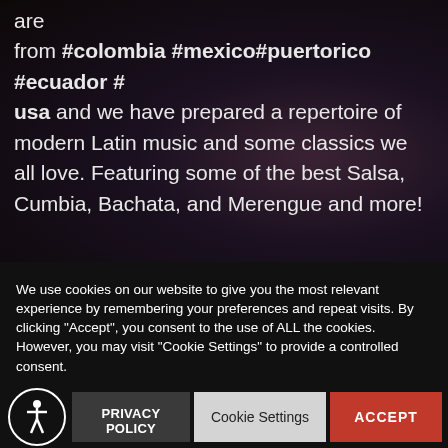are from #colombia #mexico#puertorico #ecuador #usa and we have prepared a repertoire of modern Latin music and some classics we all love. Featuring some of the best Salsa, Cumbia, Bachata, and Merengue and more!
We use cookies on our website to give you the most relevant experience by remembering your preferences and repeat visits. By clicking “Accept”, you consent to the use of ALL the cookies. However, you may visit "Cookie Settings" to provide a controlled consent.